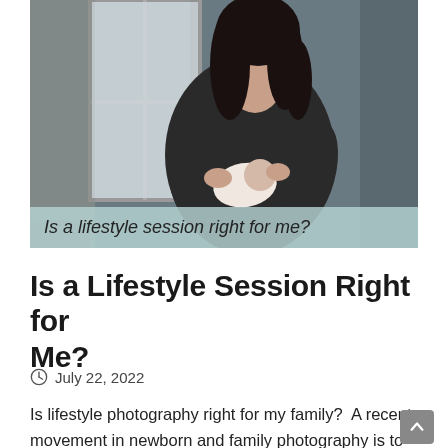[Figure (photo): A woman with long dark hair holding a newborn baby, standing near a window with soft natural light. The background shows a room interior. Below the photo is a semi-transparent teal/mint overlay with the italic text 'Is a lifestyle session right for me?']
Is a Lifestyle Session Right for Me?
July 22, 2022
Is lifestyle photography right for my family?  A recent movement in newborn and family photography is to